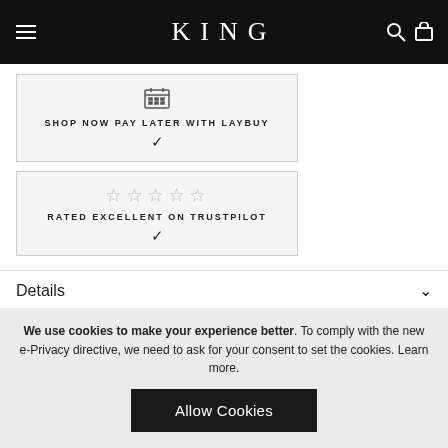KING
SHOP NOW PAY LATER WITH LAYBUY
RATED EXCELLENT ON TRUSTPILOT
Details
Limited edition KING sweatshirt. London's finest contemporary streetwear since 2003.
We use cookies to make your experience better. To comply with the new e-Privacy directive, we need to ask for your consent to set the cookies. Learn more.